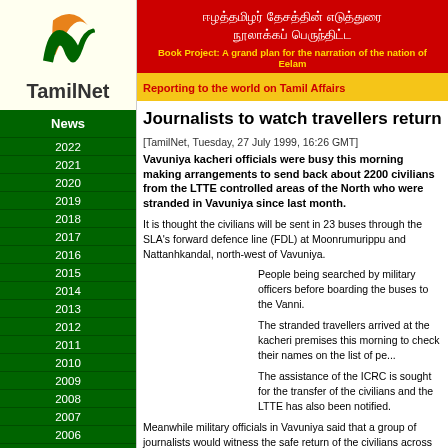[Figure (logo): TamilNet logo with stylized T and N in orange/green, with text TamilNet below]
News
2022
2021
2020
2019
2018
2017
2016
2015
2014
2013
2012
2011
2010
2009
2008
2007
2006
2005
2004
2003
2002
2001
2000
1999
ஈழத்தமிழர் தேசத்தின் எடுத்துரை நூலாக்கப் பெருந்திட்ட Book Project: A grand plan for the narration of the nation of Eelam
Reporting to the world on Tamil Affairs
Journalists to watch travellers return
[TamilNet, Tuesday, 27 July 1999, 16:26 GMT]
Vavuniya kacheri officials were busy this morning making arrangements to send back about 2200 civilians from the LTTE controlled areas of the North who were stranded in Vavuniya since last month.
It is thought the civilians will be sent in 23 buses through the SLA's forward defence line (FDL) at Moonrumurippu and Nattanhkandal, north-west of Vavuniya.
People being searched by military officers before boarding the buses to the Vanni.
The stranded travellers arrived at the kacheri premises this morning to check their names on the list of persons being sent.
The assistance of the ICRC is sought for the transfer of the civilians and the LTTE has also been notified.
Meanwhile military officials in Vavuniya said that a group of journalists would witness the safe return of the civilians across the FDL's later today.
Parents with children are going to make the 35km journey to the LTTE controlled Naddankandal forward...